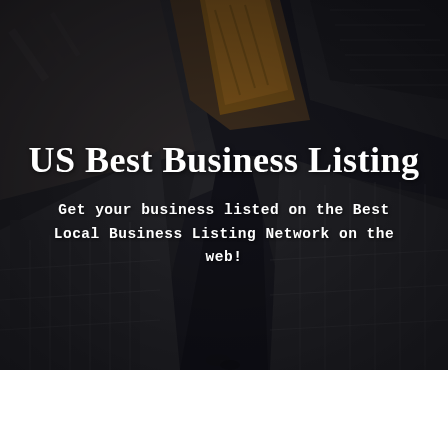[Figure (photo): Aerial/overhead view of tall city buildings shot from above, showing skyscrapers from a bird's-eye perspective with dark moody overlay. Dark tones with hints of orange/warm lighting on one building.]
US Best Business Listing
Get your business listed on the Best Local Business Listing Network on the web!